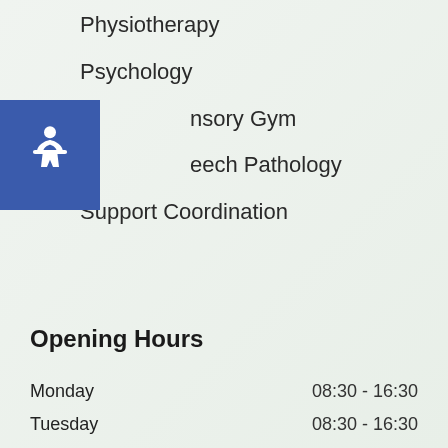Physiotherapy
Psychology
Sensory Gym
Speech Pathology
Support Coordination
Opening Hours
| Day | Hours |
| --- | --- |
| Monday | 08:30 - 16:30 |
| Tuesday | 08:30 - 16:30 |
| Wednesday | 08:30 - 17:00 |
| Thursday | 08:30 - 17:00 |
| Friday | 08:30 - 16:30 |
| Saturday | CLOSED |
| Sunday | CLOSED |